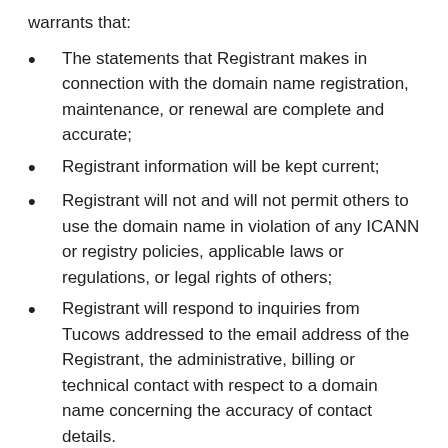warrants that:
The statements that Registrant makes in connection with the domain name registration, maintenance, or renewal are complete and accurate;
Registrant information will be kept current;
Registrant will not and will not permit others to use the domain name in violation of any ICANN or registry policies, applicable laws or regulations, or legal rights of others;
Registrant will respond to inquiries from Tucows addressed to the email address of the Registrant, the administrative, billing or technical contact with respect to a domain name concerning the accuracy of contact details.
Registrant acknowledges that a breach of this Section 8